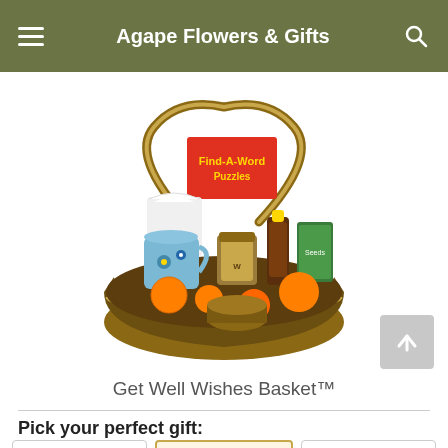Agape Flowers & Gifts
[Figure (photo): A wicker gift basket filled with oranges, tissues, a floral mug, a jar of honey, a bottle of sauce, a Find-A-Word Puzzles book, and other wellness items.]
Get Well Wishes Basket™
Pick your perfect gift: